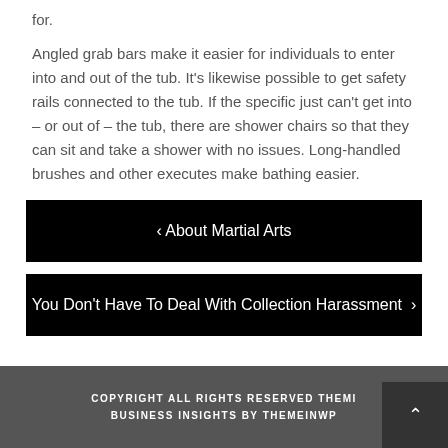for.
Angled grab bars make it easier for individuals to enter into and out of the tub. It's likewise possible to get safety rails connected to the tub. If the specific just can't get into – or out of – the tub, there are shower chairs so that they can sit and take a shower with no issues. Long-handled brushes and other executes make bathing easier.
‹ About Martial Arts
You Don't Have To Deal With Collection Harassment ›
COPYRIGHT ALL RIGHTS RESERVED THEMEINWP BUSINESS INSIGHTS BY THEMEINWP